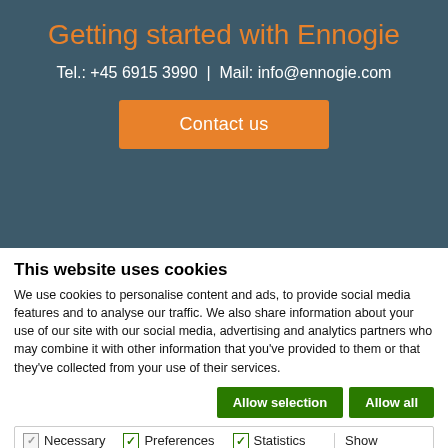Getting started with Ennogie
Tel.: +45 6915 3990 | Mail: info@ennogie.com
[Figure (other): Orange 'Contact us' button]
This website uses cookies
We use cookies to personalise content and ads, to provide social media features and to analyse our traffic. We also share information about your use of our site with our social media, advertising and analytics partners who may combine it with other information that you've provided to them or that they've collected from your use of their services.
[Figure (other): Two green buttons: 'Allow selection' and 'Allow all']
Necessary | Preferences | Statistics | Marketing | Show details